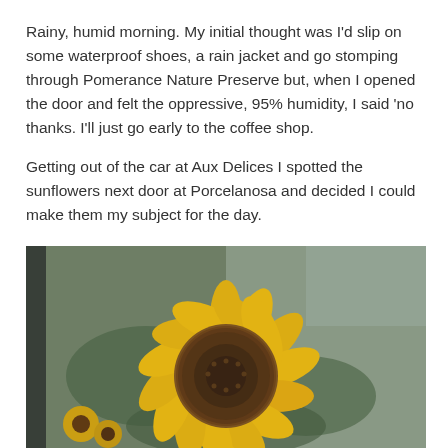Rainy, humid morning. My initial thought was I'd slip on some waterproof shoes, a rain jacket and go stomping through Pomerance Nature Preserve but, when I opened the door and felt the oppressive, 95% humidity, I said 'no thanks. I'll just go early to the coffee shop.

Getting out of the car at Aux Delices I spotted the sunflowers next door at Porcelanosa and decided I could make them my subject for the day.
[Figure (photo): Close-up photograph of a large sunflower with bright yellow petals and a dark brown center, photographed on a rainy overcast day. Additional smaller sunflowers and green foliage visible in the background.]